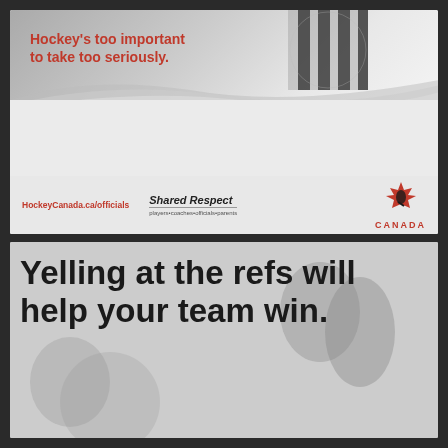[Figure (illustration): Hockey Canada ad with referee image at top, curved wave design, red italic text headline 'Hockey's too important to take too seriously.' with HockeyCanada.ca/officials URL, Shared Respect logo, and Hockey Canada maple leaf logo with CANADA text]
[Figure (illustration): Hockey Canada ad with dark background showing spectators, large bold black text reading 'Yelling at the refs will help your team win.']